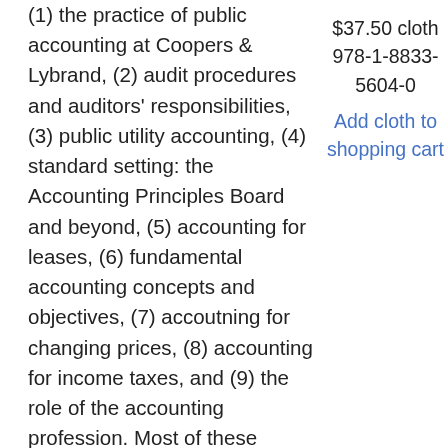(1) the practice of public accounting at Coopers & Lybrand, (2) audit procedures and auditors' responsibilities, (3) public utility accounting, (4) standard setting: the Accounting Principles Board and beyond, (5) accounting for leases, (6) fundamental accounting concepts and objectives, (7) accoutning for changing prices, (8) accounting for income taxes, and (9) the role of the accounting profession. Most of these groups include writings spanning a decade or more, evidencing Mr. Defliese’s long-term interest in the topics he addressed.” —from the introduction
$37.50 cloth
978-1-8833-5604-0
Add cloth to shopping cart